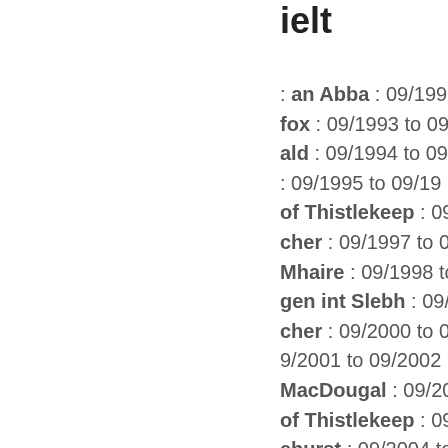ielt
: an Abba : 09/1992…
fox : 09/1993 to 09/…
ald : 09/1994 to 09/…
: 09/1995 to 09/19…
of Thistlekeep : 09/…
cher : 09/1997 to 0…
Mhaire : 09/1998 to…
gen int Slebh : 09/…
cher : 09/2000 to 0…
9/2001 to 09/2002…
MacDougal : 09/20…
of Thistlekeep : 09/…
ehurst : 09/2004 to…
nett : 09/2005 to 0…
omery the Foreste…